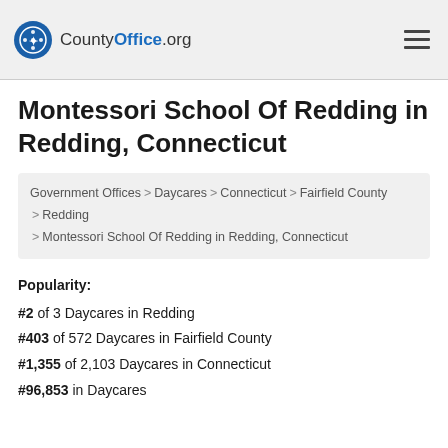CountyOffice.org
Montessori School Of Redding in Redding, Connecticut
Government Offices > Daycares > Connecticut > Fairfield County > Redding > Montessori School Of Redding in Redding, Connecticut
Popularity: #2 of 3 Daycares in Redding #403 of 572 Daycares in Fairfield County #1,355 of 2,103 Daycares in Connecticut #96,853 in Daycares